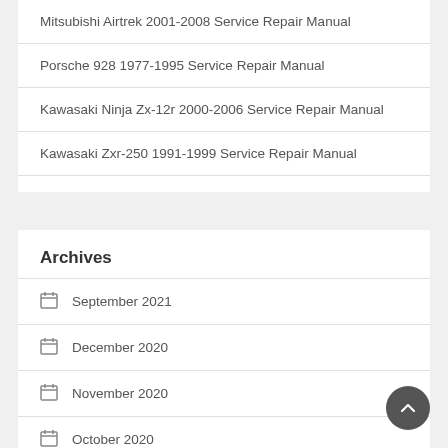Mitsubishi Airtrek 2001-2008 Service Repair Manual
Porsche 928 1977-1995 Service Repair Manual
Kawasaki Ninja Zx-12r 2000-2006 Service Repair Manual
Kawasaki Zxr-250 1991-1999 Service Repair Manual
Archives
September 2021
December 2020
November 2020
October 2020